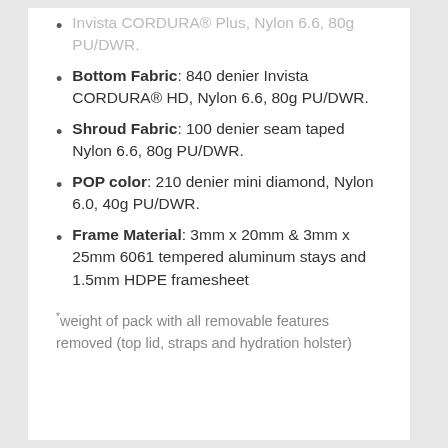Bottom Fabric: 840 denier Invista CORDURA® HD, Nylon 6.6, 80g PU/DWR.
Shroud Fabric: 100 denier seam taped Nylon 6.6, 80g PU/DWR.
POP color: 210 denier mini diamond, Nylon 6.0, 40g PU/DWR.
Frame Material: 3mm x 20mm & 3mm x 25mm 6061 tempered aluminum stays and 1.5mm HDPE framesheet
*weight of pack with all removable features removed (top lid, straps and hydration holster)